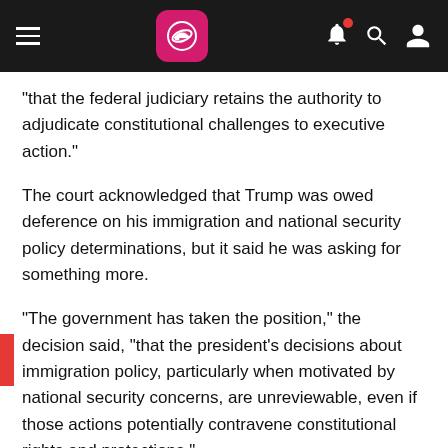Navigation bar with hamburger menu, logo, bell notification, search, and profile icons
"that the federal judiciary retains the authority to adjudicate constitutional challenges to executive action."
The court acknowledged that Trump was owed deference on his immigration and national security policy determinations, but it said he was asking for something more.
"The government has taken the position," the decision said, "that the president's decisions about immigration policy, particularly when motivated by national security concerns, are unreviewable, even if those actions potentially contravene constitutional rights and protections."